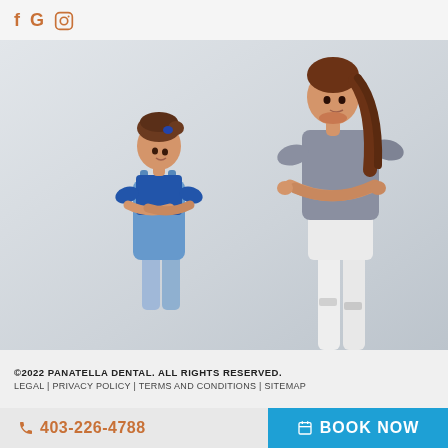f G [instagram icon] — social media icons
[Figure (photo): Photo of a young girl in blue top and denim overalls with arms crossed looking up at a teenage girl in grey t-shirt and white jeans with arms crossed, both leaning against a light grey wall]
©2022 PANATELLA DENTAL. ALL RIGHTS RESERVED. LEGAL | PRIVACY POLICY | TERMS AND CONDITIONS | SITEMAP
403-226-4788
BOOK NOW